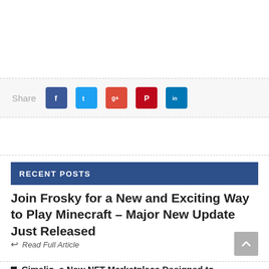[Figure (infographic): Social share bar with Facebook, Twitter, Google+, Pinterest, and LinkedIn buttons]
RECENT POSTS
Join Frosky for a New and Exciting Way to Play Minecraft – Major New Update Just Released
Read Full Article
Cimelio, a New NFT Marketplace Designed to Revolutionize Digital